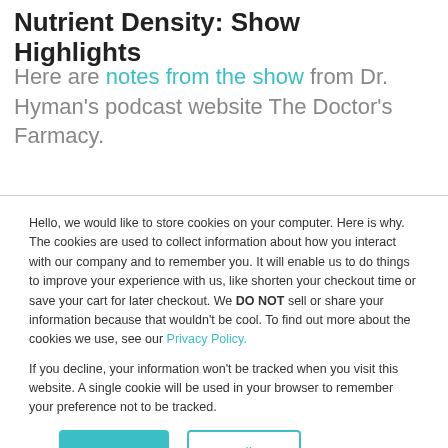Nutrient Density: Show Highlights
Here are notes from the show from Dr. Hyman's podcast website The Doctor's Farmacy.
Hello, we would like to store cookies on your computer. Here is why. The cookies are used to collect information about how you interact with our company and to remember you. It will enable us to do things to improve your experience with us, like shorten your checkout time or save your cart for later checkout. We DO NOT sell or share your information because that wouldn't be cool. To find out more about the cookies we use, see our Privacy Policy.
If you decline, your information won't be tracked when you visit this website. A single cookie will be used in your browser to remember your preference not to be tracked.